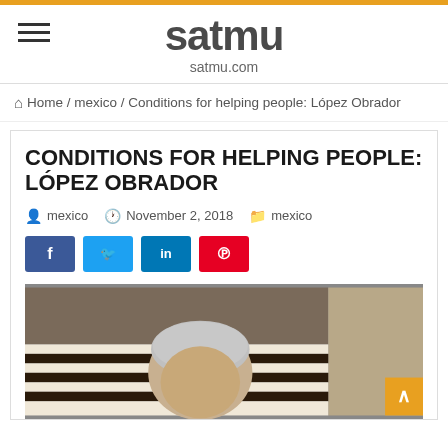satmu / satmu.com
Home / mexico / Conditions for helping people: López Obrador
CONDITIONS FOR HELPING PEOPLE: LÓPEZ OBRADOR
mexico  November 2, 2018  mexico
[Figure (photo): Photograph of López Obrador, a man with gray hair, with a striped background visible behind him. Social sharing buttons for Facebook, Twitter, LinkedIn, and Pinterest are shown above the photo.]